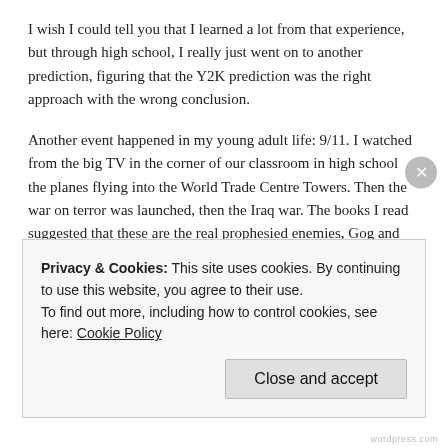I wish I could tell you that I learned a lot from that experience, but through high school, I really just went on to another prediction, figuring that the Y2K prediction was the right approach with the wrong conclusion.
Another event happened in my young adult life: 9/11. I watched from the big TV in the corner of our classroom in high school the planes flying into the World Trade Centre Towers. Then the war on terror was launched, then the Iraq war. The books I read suggested that these are the real prophesied enemies, Gog and Magog, and now, not Y2K, was the real beginning of the end. It felt like it.
But already, as a young person, this approach became dissatisfying to me, and perhaps you have felt this too (if you have any clue about
Privacy & Cookies: This site uses cookies. By continuing to use this website, you agree to their use.
To find out more, including how to control cookies, see here: Cookie Policy